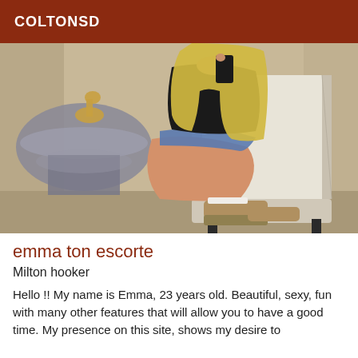COLTONSD
[Figure (photo): A young blonde woman sitting on a white upholstered chair, wearing a black top and denim shorts with beige platform shoes, in a room with a silver/chrome side table and gold deer figurine.]
emma ton escorte
Milton hooker
Hello !! My name is Emma, 23 years old. Beautiful, sexy, fun with many other features that will allow you to have a good time. My presence on this site, shows my desire to